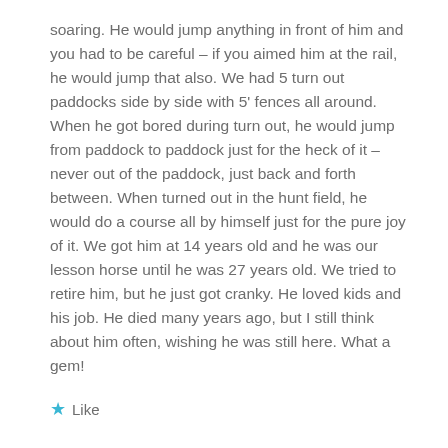soaring. He would jump anything in front of him and you had to be careful – if you aimed him at the rail, he would jump that also. We had 5 turn out paddocks side by side with 5' fences all around. When he got bored during turn out, he would jump from paddock to paddock just for the heck of it – never out of the paddock, just back and forth between. When turned out in the hunt field, he would do a course all by himself just for the pure joy of it. We got him at 14 years old and he was our lesson horse until he was 27 years old. We tried to retire him, but he just got cranky. He loved kids and his job. He died many years ago, but I still think about him often, wishing he was still here. What a gem!
★ Like